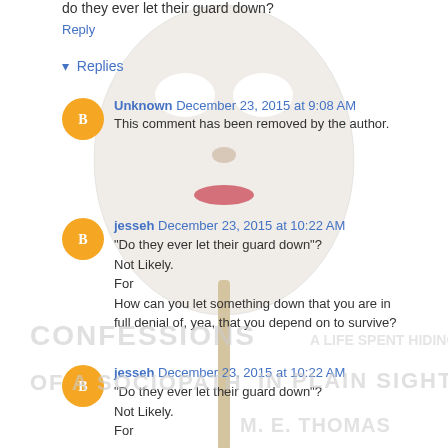do they ever let their guard down?
Reply
▾ Replies
Unknown December 23, 2015 at 9:08 AM
This comment has been removed by the author.
jesseh December 23, 2015 at 10:22 AM
"Do they ever let their guard down"?
Not Likely.
For
How can you let something down that you are in full denial of, yea, that you depend on to survive?
[Figure (illustration): Background image of a white mask face on a stick, overlaid with watermark text reading CONFESSIONS A LIFE SPENT HIDING OF A SOCIOPATH IN PLAIN SIGHT M.E. THOMAS]
jesseh December 23, 2015 at 10:22 AM
"Do they ever let their guard down"?
Not Likely.
For